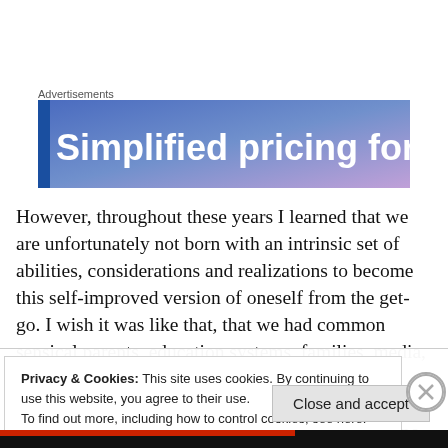Advertisements
[Figure (illustration): Advertisement banner with blue-purple gradient background and white bold text reading 'Simplified pricing for']
However, throughout these years I learned that we are unfortunately not born with an intrinsic set of abilities, considerations and realizations to become this self-improved version of oneself from the get-go. I wish it was like that, that we had common sensical parents, education systems, families, media, politicians, entertainment and the whole rest of things and people that we are influenced by and consume throughout our lifetime, having little to no reference of how things could be
Privacy & Cookies: This site uses cookies. By continuing to use this website, you agree to their use.
To find out more, including how to control cookies, see here: Cookie Policy
Close and accept